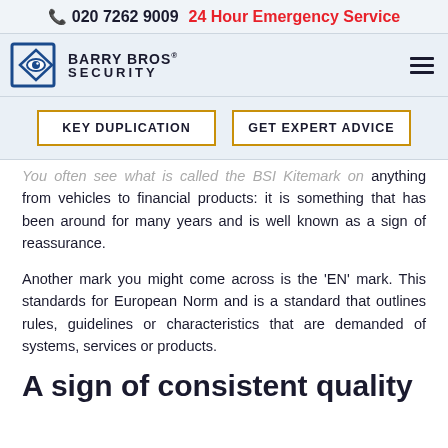📞 020 7262 9009   24 Hour Emergency Service
[Figure (logo): Barry Bros Security logo with eye icon and company name]
KEY DUPLICATION
GET EXPERT ADVICE
You often see what is called the BSI Kitemark on anything from vehicles to financial products: it is something that has been around for many years and is well known as a sign of reassurance.
Another mark you might come across is the 'EN' mark. This standards for European Norm and is a standard that outlines rules, guidelines or characteristics that are demanded of systems, services or products.
A sign of consistent quality